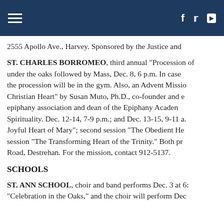[navigation header with hamburger menu and social icons: f, twitter, youtube]
2555 Apollo Ave., Harvey. Sponsored by the Justice and
ST. CHARLES BORROMEO, third annual "Procession of under the oaks followed by Mass, Dec. 8, 6 p.m. In case the procession will be in the gym. Also, an Advent Missio Christian Heart" by Susan Muto, Ph.D., co-founder and e epiphany association and dean of the Epiphany Acaden Spirituality. Dec. 12-14, 7-9 p.m.; and Dec. 13-15, 9-11 a. Joyful Heart of Mary"; second session "The Obedient He session "The Transforming Heart of the Trinity." Both pr Road, Destrehan. For the mission, contact 912-5137.
SCHOOLS
ST. ANN SCHOOL, choir and band performs Dec. 3 at 6: "Celebration in the Oaks," and the choir will perform Dec